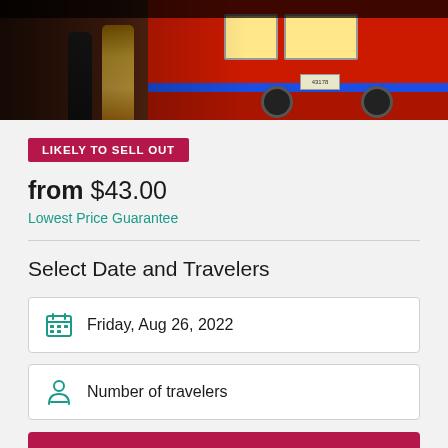[Figure (photo): Hero image showing people boarding a red bus. Two figures visible on left, large red bus on right with yellow windows and blue stripe near bottom.]
LIKELY TO SELL OUT
from $43.00
Lowest Price Guarantee
Select Date and Travelers
Friday, Aug 26, 2022
Number of travelers
Check Availability